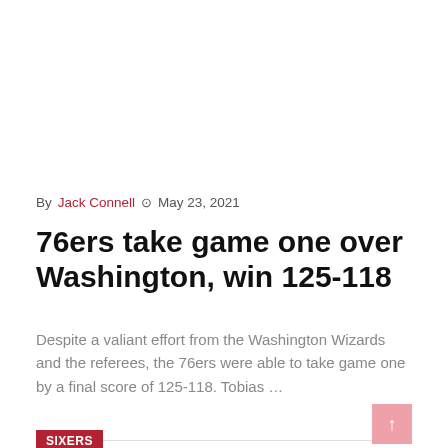By Jack Connell  ⊙  May 23, 2021
76ers take game one over Washington, win 125-118
Despite a valiant effort from the Washington Wizards and the referees, the 76ers were able to take game one by a final score of 125-118. Tobias …
Read More
SIXERS